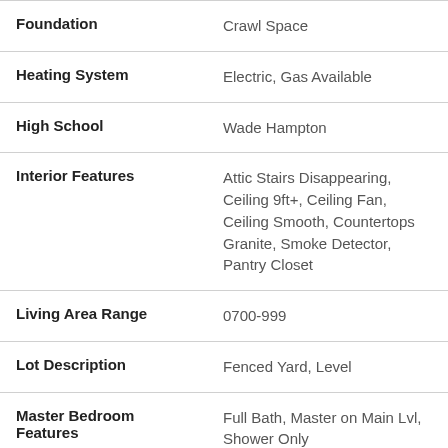| Field | Value |
| --- | --- |
| Foundation | Crawl Space |
| Heating System | Electric, Gas Available |
| High School | Wade Hampton |
| Interior Features | Attic Stairs Disappearing, Ceiling 9ft+, Ceiling Fan, Ceiling Smooth, Countertops Granite, Smoke Detector, Pantry Closet |
| Living Area Range | 0700-999 |
| Lot Description | Fenced Yard, Level |
| Master Bedroom Features | Full Bath, Master on Main Lvl, Shower Only |
| Middle School | Sevier |